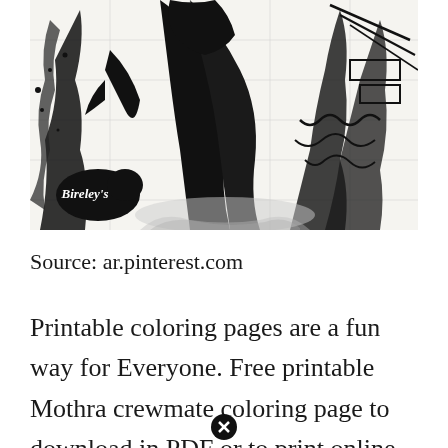[Figure (illustration): Black and white ink illustration resembling a Godzilla/kaiju-style comic scene with a monster creature causing destruction, water splashes, lightning bolts. A Bireley's brand logo is visible in the lower left corner in a dark oval badge.]
Source: ar.pinterest.com
Printable coloring pages are a fun way for Everyone. Free printable Mothra crewmate coloring page to download in PDF or to print online and color. Download or print